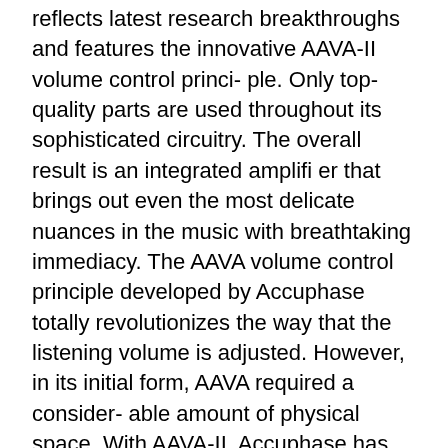reflects latest research breakthroughs and features the innovative AAVA-II volume control princi- ple. Only top-quality parts are used throughout its sophisticated circuitry. The overall result is an integrated amplifi er that brings out even the most delicate nuances in the music with breathtaking immediacy. The AAVA volume control principle developed by Accuphase totally revolutionizes the way that the listening volume is adjusted. However, in its initial form, AAVA required a consider- able amount of physical space. With AAVA-II, Accuphase has now taken this principle to the next level, delivering the same peerless per- formance in a more compact form factor. This was made possible by implementing highly sophisticated surface mount technology while increasing component density and integration and optimizing the layout. With AAVA-II, ampli- fi cation and volume control are fully integrated. The use of highly reliable electronic compo- nents eliminates mechanical wear and associ- ated problems, allowing the control to function perfectly for